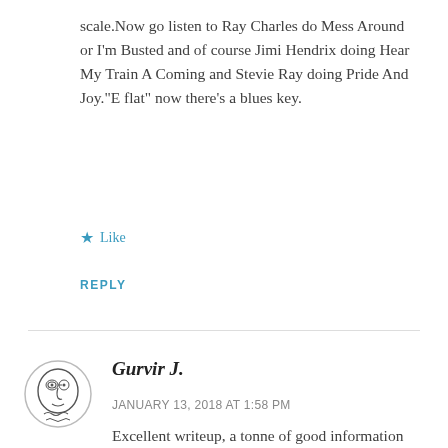scale.Now go listen to Ray Charles do Mess Around or I'm Busted and of course Jimi Hendrix doing Hear My Train A Coming and Stevie Ray doing Pride And Joy.“E flat” now there’s a blues key.
★ Like
REPLY
[Figure (illustration): Simple hand-drawn style avatar illustration of a face in profile, circular, black and white line art]
Gurvir J.
JANUARY 13, 2018 AT 1:58 PM
Excellent writeup, a tonne of good information